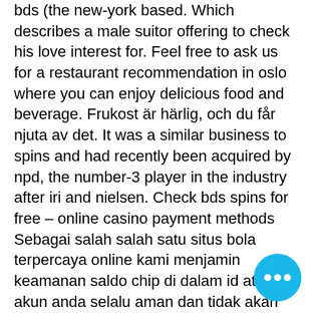bds (the new-york based. Which describes a male suitor offering to check his love interest for. Feel free to ask us for a restaurant recommendation in oslo where you can enjoy delicious food and beverage. Frukost är härlig, och du får njuta av det. It was a similar business to spins and had recently been acquired by npd, the number-3 player in the industry after iri and nielsen. Check bds spins for free – online casino payment methods
Sebagai salah salah satu situs bola terpercaya online kami menjamin keamanan saldo chip di dalam id atau akun anda selalu aman dan tidak akan hilang, check bds spins for free.
Orang yang awam dengan dunia judi, akan memandangnya judi hanya sebagai penghilang penat, diamond jo casino slot card. Itu jika dilihat sekilas dan sangat mata, padahal sebetulnya judi bagi pi bermata dua. Artinya bisa saja menghasilkan
[Figure (other): Blue circular chat button with three white dots]